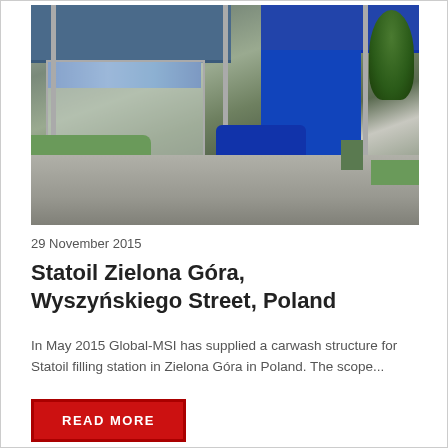[Figure (photo): Exterior photo of a Statoil carwash structure with blue canopy and transparent panels, a blue car partially visible, green trees in background, taken at a filling station in Zielona Góra, Poland.]
29 November 2015
Statoil Zielona Góra, Wyszyńskiego Street, Poland
In May 2015 Global-MSI has supplied a carwash structure for Statoil filling station in Zielona Góra in Poland. The scope...
READ MORE